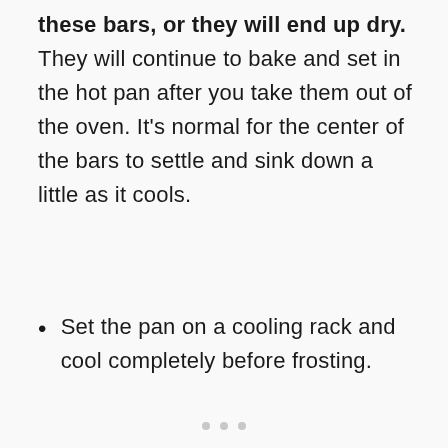these bars, or they will end up dry. They will continue to bake and set in the hot pan after you take them out of the oven. It's normal for the center of the bars to settle and sink down a little as it cools.
Set the pan on a cooling rack and cool completely before frosting.